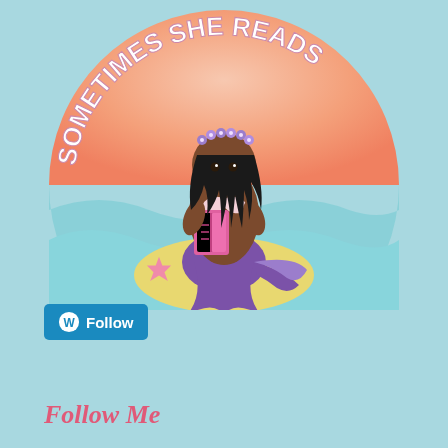[Figure (logo): Circular logo featuring a mermaid with dark skin and long black hair wearing a purple flower crown, sitting on a yellow sandbar holding a pink book. Background shows a pink-to-peach sunset semicircle with light blue ocean waves. Text curved along the top reads 'SOMETIMES SHE READS' in white bold letters. A pink starfish sits on the sandbar.]
[Figure (other): WordPress Follow button - blue rounded rectangle with WordPress logo icon (W in circle) and white text 'Follow']
Follow Me